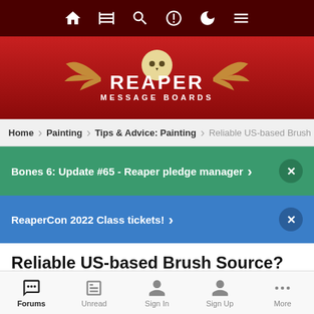Reaper Message Boards - top navigation bar
[Figure (logo): Reaper Message Boards logo with skull and wings on dark red background]
Home > Painting > Tips & Advice: Painting > Reliable US-based Brush S
Bones 6: Update #65 - Reaper pledge manager >  x
ReaperCon 2022 Class tickets! >  x
Reliable US-based Brush Source?
[Figure (other): 5 empty star rating icons]
Forums  Unread  Sign In  Sign Up  More